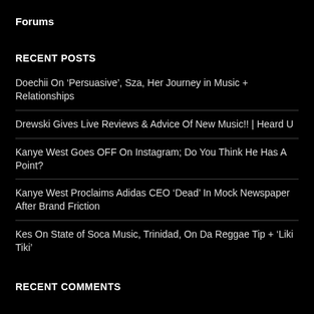Forums
RECENT POSTS
Doechii On ‘Persuasive’, Sza, Her Journey in Music + Relationships
Drewski Gives Live Reviews & Advice Of New Music!! | Heard U
Kanye West Goes OFF On Instagram; Do You Think He Has A Point?
Kanye West Proclaims Adidas CEO ‘Dead’ In Mock Newspaper After Brand Friction
Kes On State of Soca Music, Trinidad, On Da Reggae Tip + ‘Liki Tiki’
RECENT COMMENTS